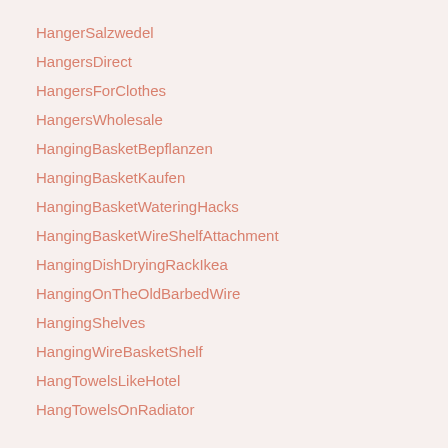HangerSalzwedel
HangersDirect
HangersForClothes
HangersWholesale
HangingBasketBepflanzen
HangingBasketKaufen
HangingBasketWateringHacks
HangingBasketWireShelfAttachment
HangingDishDryingRackIkea
HangingOnTheOldBarbedWire
HangingShelves
HangingWireBasketShelf
HangTowelsLikeHotel
HangTowelsOnRadiator